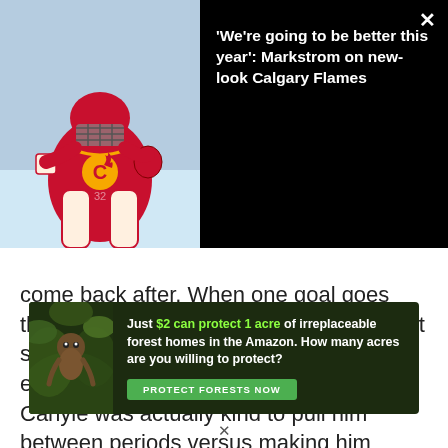[Figure (photo): Dark overlay banner with a Calgary Flames goalie (Jacob Markstrom) in red gear on the left, and a headline on the right over black background with a close (X) button]
'We're going to be better this year': Markstrom on new-look Calgary Flames
come back after. When one goal goes through you and another goal is the exact same weak goal you let in two nights earlier, chances are you're getting pulled. Carlyle was actually kind to pull him between periods versus making him skate to the bench during the period (he might have been jeered). Sometimes you have to pull a goalie to wake up your team and turn things around. It's not always fair, but goalies should understand that
[Figure (infographic): Green advertisement banner: 'Just $2 can protect 1 acre of irreplaceable forest homes in the Amazon. How many acres are you willing to protect?' with a 'PROTECT FORESTS NOW' green button and a wildlife photo on the left.]